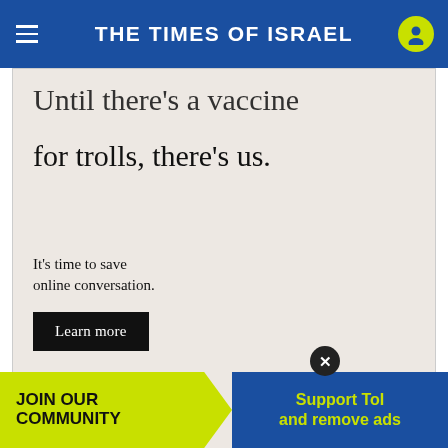THE TIMES OF ISRAEL
[Figure (infographic): OpenWeb advertisement. Partial headline 'Until there's a vaccine for trolls, there's us.' with subtext 'It's time to save online conversation.' and a 'Learn more' button, plus the OpenWeb logo.]
AdChoices  Sponsored
READ MORE
Israel
[Figure (infographic): Bottom banner ad: JOIN OUR COMMUNITY | Support ToI and remove ads, with a close button]